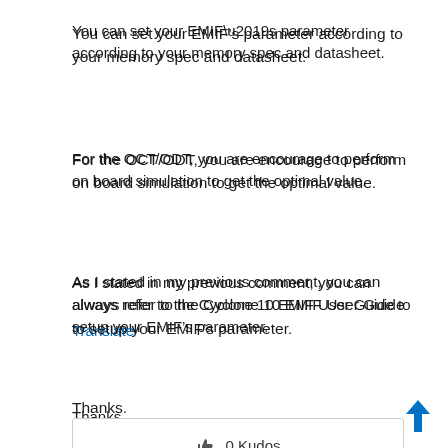You can set your EMIF’s parameter according to your memory spec and datasheet.
For the OCT/ODT, you are encourage to perform on board simulation to get the optimal value.
As I stated in my previous comment, you can always refer to the Cyclone 10 EMIF User Guide to setup your EMIF’s parameter.
Thanks.
Translate
0 Kudos